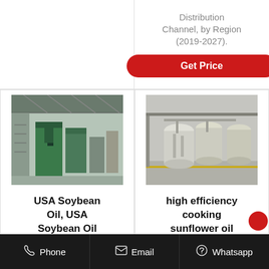Distribution Channel, by Region (2019-2027).
Get Price
[Figure (photo): Industrial machinery/oil processing equipment inside a large warehouse with green machines]
USA Soybean Oil, USA Soybean Oil
[Figure (photo): Industrial cooking oil processing equipment - large silver tanks/vessels on a factory floor]
high efficiency cooking sunflower oil
Phone   Email   Whatsapp